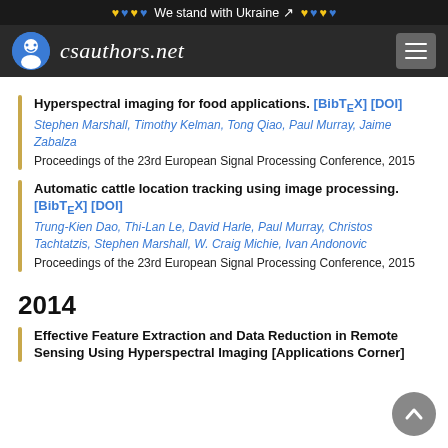We stand with Ukraine
[Figure (logo): csauthors.net logo with navigation bar]
Hyperspectral imaging for food applications. [BibTeX] [DOI] Stephen Marshall, Timothy Kelman, Tong Qiao, Paul Murray, Jaime Zabalza. Proceedings of the 23rd European Signal Processing Conference, 2015
Automatic cattle location tracking using image processing. [BibTeX] [DOI] Trung-Kien Dao, Thi-Lan Le, David Harle, Paul Murray, Christos Tachtatzis, Stephen Marshall, W. Craig Michie, Ivan Andonovic. Proceedings of the 23rd European Signal Processing Conference, 2015
2014
Effective Feature Extraction and Data Reduction in Remote Sensing Using Hyperspectral Imaging [Applications Corner]